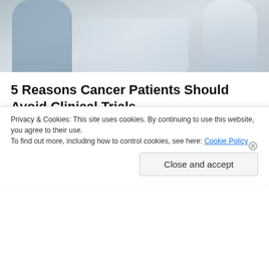[Figure (photo): Blurred photograph of medical professionals, appearing to show a doctor and patient interaction]
5 Reasons Cancer Patients Should Avoid Clinical Trials
Envita Medical Centers
[Figure (illustration): Advertisement banner for Marvel Strike Force game featuring Thor: Love and Thunder tie-in promotional content]
Privacy & Cookies: This site uses cookies. By continuing to use this website, you agree to their use.
To find out more, including how to control cookies, see here: Cookie Policy
Close and accept